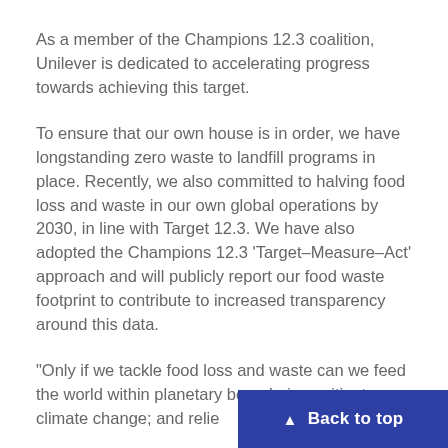As a member of the Champions 12.3 coalition, Unilever is dedicated to accelerating progress towards achieving this target.
To ensure that our own house is in order, we have longstanding zero waste to landfill programs in place. Recently, we also committed to halving food loss and waste in our own global operations by 2030, in line with Target 12.3. We have also adopted the Champions 12.3 'Target–Measure–Act' approach and will publicly report our food waste footprint to contribute to increased transparency around this data.
“Only if we tackle food loss and waste can we feed the world within planetary boundaries; mitigate climate change; and relie… natural resources. The bigger impo…